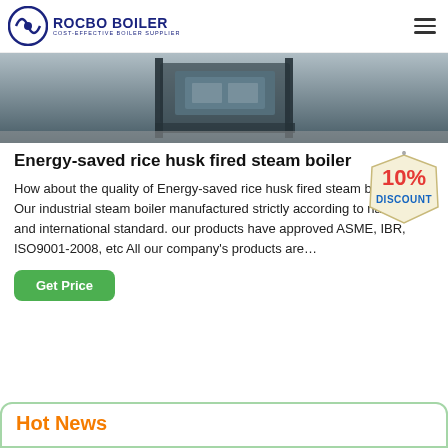ROCBO BOILER — COST-EFFECTIVE BOILER SUPPLIER
[Figure (photo): Partial view of an industrial boiler unit, showing dark metal frame and equipment components on a concrete floor.]
Energy-saved rice husk fired steam boiler
[Figure (illustration): 10% DISCOUNT badge — cream colored tag shape with red bold '10%' and blue 'DISCOUNT' text.]
How about the quality of Energy-saved rice husk fired steam boiler? Our industrial steam boiler manufactured strictly according to national and international standard. our products have approved ASME, IBR, ISO9001-2008, etc All our company's products are…
Get Price
Hot News